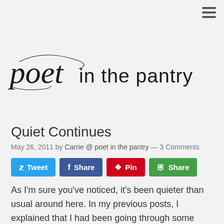[Figure (logo): Poet in the Pantry blog logo — cursive/script 'poet' in black with decorative flourishes, followed by 'in the pantry' in thin sans-serif letters]
Quiet Continues
May 26, 2011 by Carrie @ poet in the pantry — 3 Comments
Tweet | Share | Pin | Share (social share buttons)
As I'm sure you've noticed, it's been quieter than usual around here. In my previous posts, I explained that I had been going through some serious back pain issues that